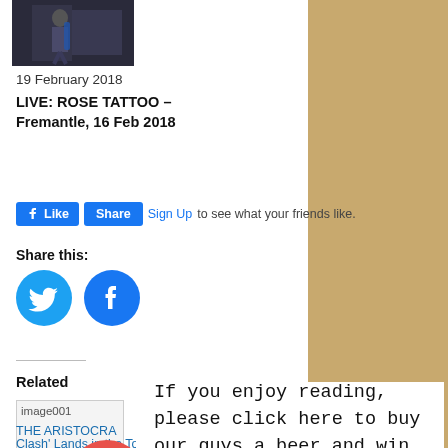[Figure (photo): Small thumbnail photo of a music performer on stage]
19 February 2018
LIVE: ROSE TATTOO – Fremantle, 16 Feb 2018
[Figure (screenshot): Facebook Like and Share buttons with Sign Up link: Sign Up to see what your friends like.]
Share this:
[Figure (infographic): Twitter and Facebook round share icon buttons]
Related
[Figure (photo): image001 - related article thumbnail image]
If you enjoy reading, please click here to buy our guys a beer and win our love and respect forever - You rock!
[Figure (illustration): Red circular coffee/beer cup icon button]
THE ARISTOCRA
Clash' Lands in the Top 10! #8 on the Billboard Contemporary
New 'Culture Clash' Full Album Teaser Available Today via